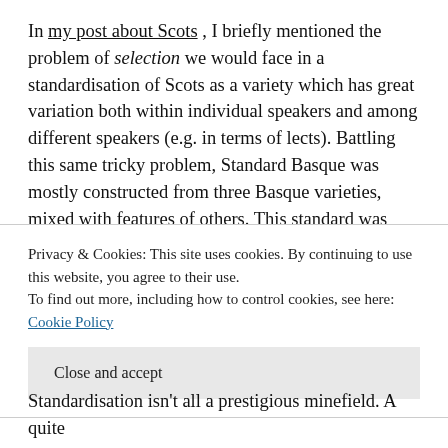In my post about Scots , I briefly mentioned the problem of selection we would face in a standardisation of Scots as a variety which has great variation both within individual speakers and among different speakers (e.g. in terms of lects). Battling this same tricky problem, Standard Basque was mostly constructed from three Basque varieties, mixed with features of others. This standard was initially used mainly by the media and in formal writing with no “real” speakers. However, as more and more previously non-Basque-speaking people in the Basque country started to learn the language, they acquired the standard variety, with the result that this
Privacy & Cookies: This site uses cookies. By continuing to use this website, you agree to their use.
To find out more, including how to control cookies, see here: Cookie Policy
Close and accept
Standardisation isn't all a prestigious minefield. A quite